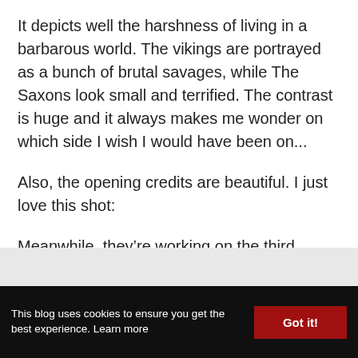It depicts well the harshness of living in a barbarous world. The vikings are portrayed as a bunch of brutal savages, while The Saxons look small and terrified. The contrast is huge and it always makes me wonder on which side I wish I would have been on...
Also, the opening credits are beautiful. I just love this shot:
Meanwhile, they're working on the third season. Thank you Netflix for renewing the show. It would have been a great loss if it wouldn't have.
© 2016 - 2022 Snarkyket. All Rights Reserved. Terms of Use · Privacy Policy · Youtube
This blog uses cookies to ensure you get the best experience. Learn more